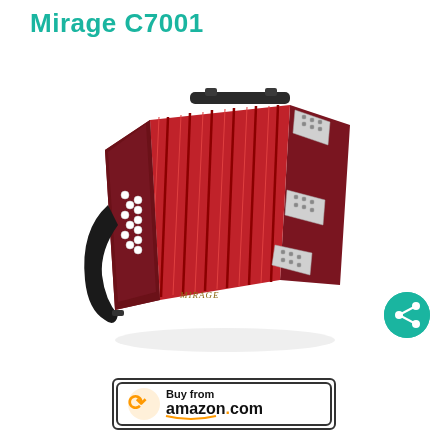Mirage C7001
[Figure (photo): Red Mirage C7001 concertina/accordion musical instrument with silver keys and ornate silver corner decorations, black strap, photographed on white background]
[Figure (other): Teal circular share button with share icon]
[Figure (other): Buy from amazon.com button with Amazon smile logo]